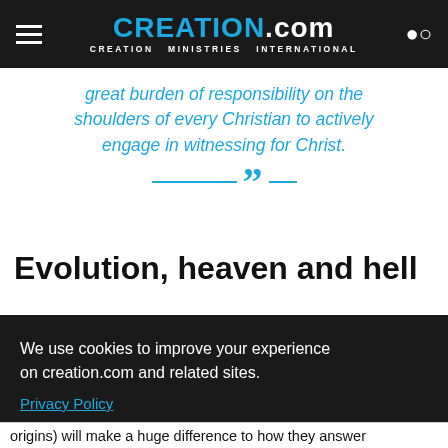CREATION.com — CREATION MINISTRIES INTERNATIONAL
great burden of responsibility on the shoulders of every Christian to actively engage in witnessing for Christ.
Evolution, heaven and hell
We use cookies to improve your experience on creation.com and related sites.
Privacy Policy
Understood
origins) will make a huge difference to how they answer